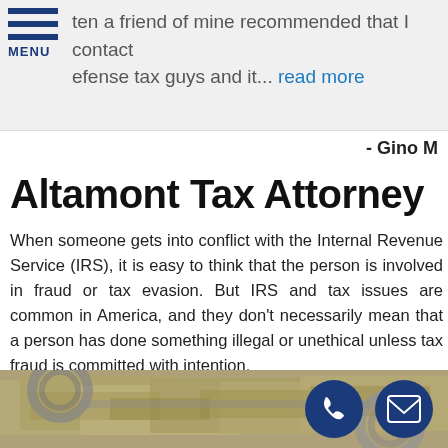ten a friend of mine recommended that I contact defense tax guys and it... read more
- Gino M
Altamont Tax Attorney
When someone gets into conflict with the Internal Revenue Service (IRS), it is easy to think that the person is involved in fraud or tax evasion. But IRS and tax issues are common in America, and they don't necessarily mean that a person has done something illegal or unethical unless tax fraud is committed with intention.
[Figure (photo): Photo of handcuffs resting on US dollar bills, with phone and email contact buttons overlaid at bottom right]